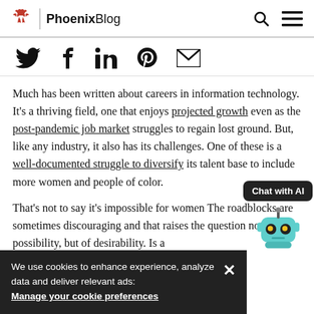PhoenixBlog
[Figure (other): Social share icons: Twitter, Facebook, LinkedIn, Pinterest, Email]
Much has been written about careers in information technology. It's a thriving field, one that enjoys projected growth even as the post-pandemic job market struggles to regain lost ground. But, like any industry, it also has its challenges. One of these is a well-documented struggle to diversify its talent base to include more women and people of color.
That's not to say it's impossible for women or those listed. The roadblocks are sometimes discouraging and that raises the question not one of possibility, but of desirability. Is a
We use cookies to enhance experience, analyze data and deliver relevant ads: Manage your cookie preferences